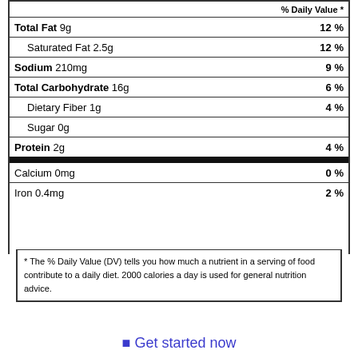| Nutrient | % Daily Value |
| --- | --- |
| Total Fat 9g | 12 % |
| Saturated Fat 2.5g | 12 % |
| Sodium 210mg | 9 % |
| Total Carbohydrate 16g | 6 % |
| Dietary Fiber 1g | 4 % |
| Sugar 0g |  |
| Protein 2g | 4 % |
| Calcium 0mg | 0 % |
| Iron 0.4mg | 2 % |
* The % Daily Value (DV) tells you how much a nutrient in a serving of food contribute to a daily diet. 2000 calories a day is used for general nutrition advice.
⬛ Get started now